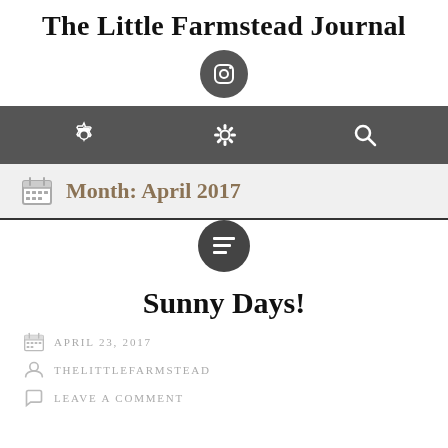The Little Farmstead Journal
[Figure (logo): Instagram camera icon in dark grey circle]
Navigation bar with settings gear icon and search icon
Month: April 2017
[Figure (other): Dark grey circle with menu/list icon]
Sunny Days!
APRIL 23, 2017
THELITTLEFARMSTEAD
LEAVE A COMMENT